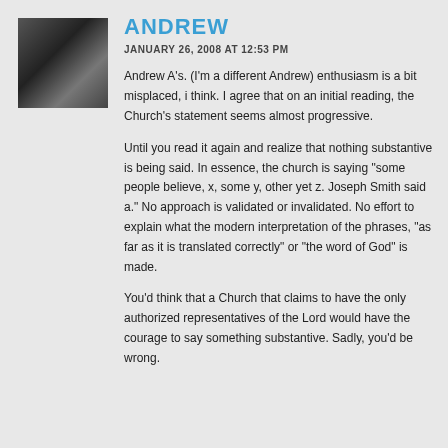[Figure (photo): Black and white photo of a person, used as avatar/profile image]
ANDREW
JANUARY 26, 2008 AT 12:53 PM
Andrew A's. (I'm a different Andrew) enthusiasm is a bit misplaced, i think. I agree that on an initial reading, the Church's statement seems almost progressive.
Until you read it again and realize that nothing substantive is being said. In essence, the church is saying "some people believe, x, some y, other yet z. Joseph Smith said a." No approach is validated or invalidated. No effort to explain what the modern interpretation of the phrases, "as far as it is translated correctly" or "the word of God" is made.
You'd think that a Church that claims to have the only authorized representatives of the Lord would have the courage to say something substantive. Sadly, you'd be wrong.